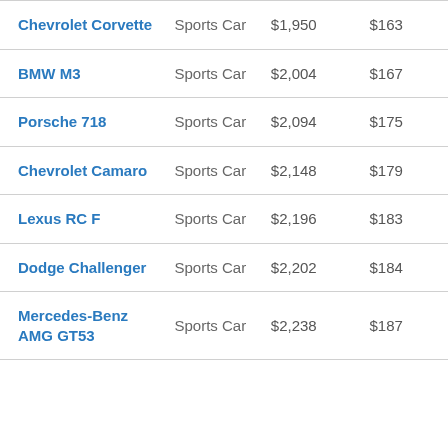| Chevrolet Corvette | Sports Car | $1,950 | $163 |
| BMW M3 | Sports Car | $2,004 | $167 |
| Porsche 718 | Sports Car | $2,094 | $175 |
| Chevrolet Camaro | Sports Car | $2,148 | $179 |
| Lexus RC F | Sports Car | $2,196 | $183 |
| Dodge Challenger | Sports Car | $2,202 | $184 |
| Mercedes-Benz AMG GT53 | Sports Car | $2,238 | $187 |